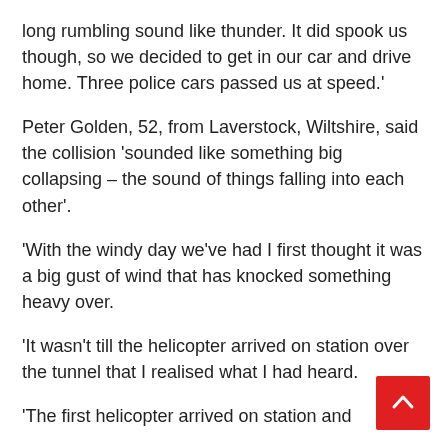long rumbling sound like thunder. It did spook us though, so we decided to get in our car and drive home. Three police cars passed us at speed.'
Peter Golden, 52, from Laverstock, Wiltshire, said the collision 'sounded like something big collapsing – the sound of things falling into each other'.
'With the windy day we've had I first thought it was a big gust of wind that has knocked something heavy over.
'It wasn't till the helicopter arrived on station over the tunnel that I realised what I had heard.
'The first helicopter arrived on station and